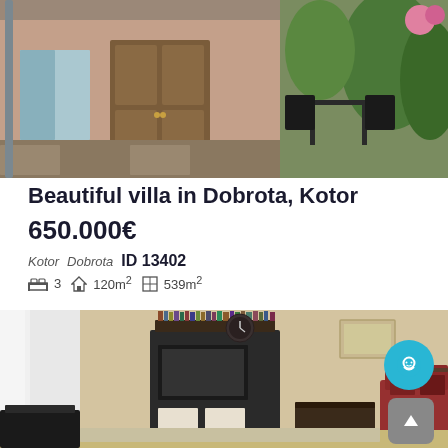[Figure (photo): Exterior of a villa showing entrance door, patio with outdoor furniture, and green trees/shrubbery]
Beautiful villa in Dobrota, Kotor
650.000€
Kotor  Dobrota  ID 13402
3 bedrooms  120m²  539m²
[Figure (photo): Interior living room of villa with TV unit, bookshelf, red sofa, coffee table, and wall art]